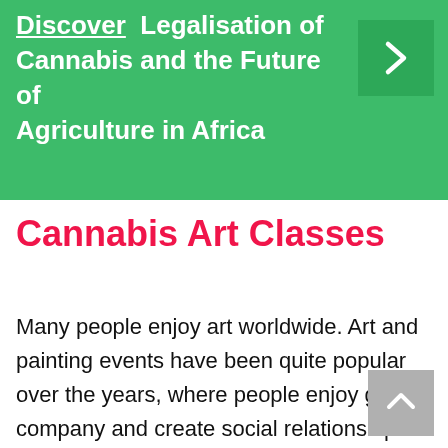Discover  Legalisation of Cannabis and the Future of Agriculture in Africa
Cannabis Art Classes
Many people enjoy art worldwide. Art and painting events have been quite popular over the years, where people enjoy good company and create social relationships with a little alcohol. With people embracing the new cannabis-friendly laws, you can twist the idea a bit by organizing art classes, providing space, artistic instruction, materials, and allow participants to bring